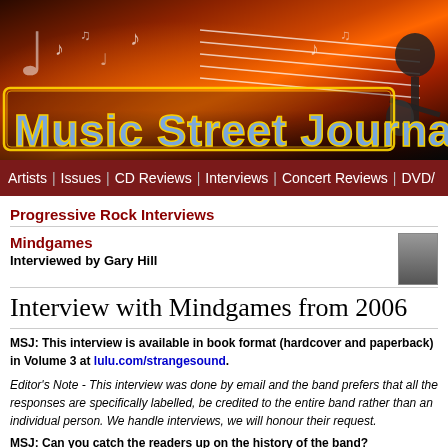[Figure (illustration): Music Street Journal website banner with orange/red flame background, music notes, and stylized 'Music Street Journal' title text in blue with gold border]
Artists | Issues | CD Reviews | Interviews | Concert Reviews | DVD/
Progressive Rock Interviews
Mindgames
Interviewed by Gary Hill
Interview with Mindgames from 2006
MSJ: This interview is available in book format (hardcover and paperback) in Volume 3 at lulu.com/strangesound.
Editor's Note - This interview was done by email and the band prefers that all the responses are specifically labelled, be credited to the entire band rather than an individual person. We handle interviews, we will honour their request.
MSJ: Can you catch the readers up on the history of the band?